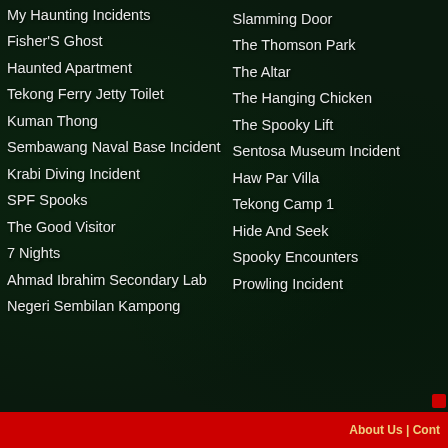My Haunting Incidents
Fisher'S Ghost
Haunted Apartment
Tekong Ferry Jetty Toilet
Kuman Thong
Sembawang Naval Base Incident
Krabi Diving Incident
SPF Spooks
The Good Visitor
7 Nights
Ahmad Ibrahim Secondary Lab
Negeri Sembilan Kampong
Slamming Door
The Thomson Park
The Altar
The Hanging Chicken
The Spooky Lift
Sentosa Museum Incident
Haw Par Villa
Tekong Camp 1
Hide And Seek
Spooky Encounters
Prowling Incident
About Us | Cont